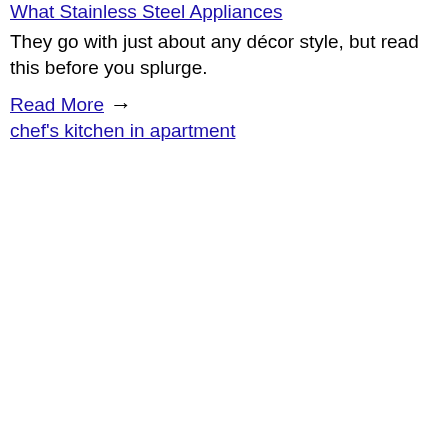What Stainless Steel Appliances (link, clipped at top)
They go with just about any décor style, but read this before you splurge.
Read More → chef's kitchen in apartment